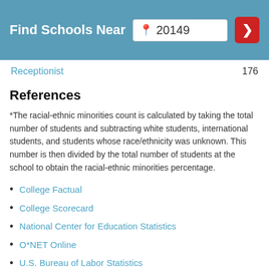Find Schools Near 20149
Receptionist   176
References
*The racial-ethnic minorities count is calculated by taking the total number of students and subtracting white students, international students, and students whose race/ethnicity was unknown. This number is then divided by the total number of students at the school to obtain the racial-ethnic minorities percentage.
College Factual
College Scorecard
National Center for Education Statistics
O*NET Online
U.S. Bureau of Labor Statistics
Usual Weekly Earnings of Wage and Salary Workers